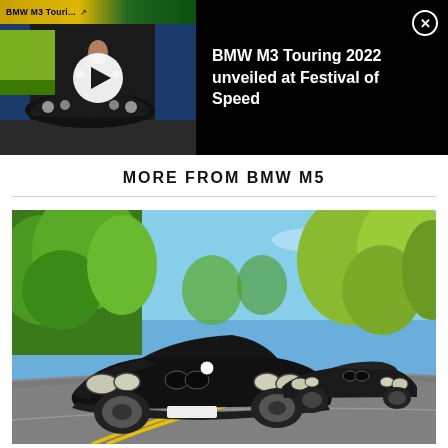[Figure (screenshot): Video thumbnail showing BMW M3 Touring 2022 promo video with a man standing in front of a BMW car, play button overlaid]
BMW M3 Touring 2022 unveiled at Festival of Speed
MORE FROM BMW M5
[Figure (photo): Two classic black BMW M5 cars driving on a tree-lined road with blue sky, photographed from the front-left angle]